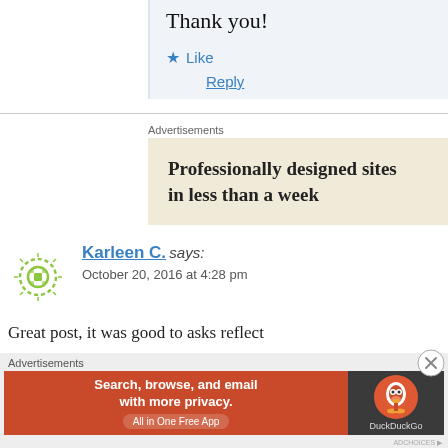Thank you!
★ Like
Reply
Advertisements
[Figure (other): Advertisement banner: Professionally designed sites in less than a week]
Karleen C. says:
October 20, 2016 at 4:28 pm
Great post, it was good to asks reflect
Advertisements
[Figure (other): DuckDuckGo advertisement banner: Search, browse, and email with more privacy. All in One Free App]